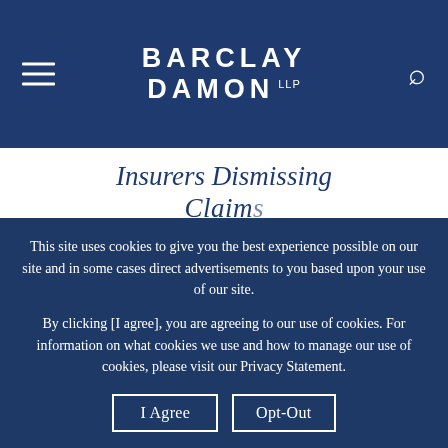BARCLAY DAMON LLP
Insurers Dismissing Claims
This site uses cookies to give you the best experience possible on our site and in some cases direct advertisements to you based upon your use of our site.
By clicking [I agree], you are agreeing to our use of cookies. For information on what cookies we use and how to manage our use of cookies, please visit our Privacy Statement.
I Agree
Opt-Out